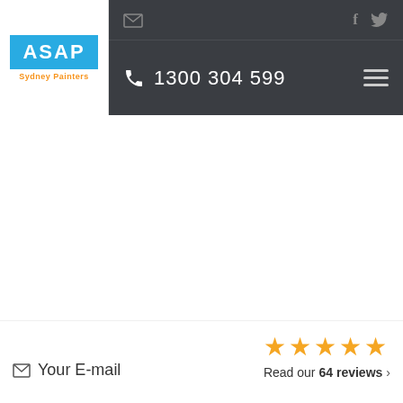[Figure (logo): ASAP Sydney Painters logo — blue background with white ASAP text and orange Sydney Painters subtitle]
✉  1300 304 599  f  🐦  ☰
★★★★★  Read our 64 reviews ›
✉ Your E-mail